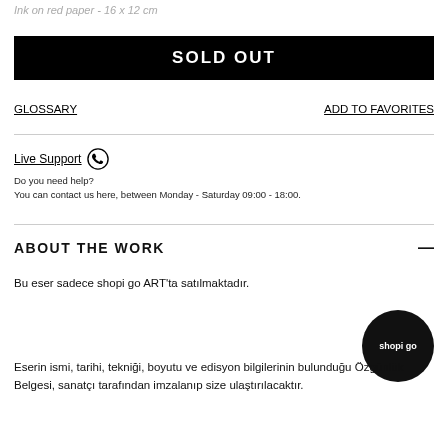Ink on red paper - 16 x 12 cm
SOLD OUT
GLOSSARY
ADD TO FAVORITES
Live Support
Do you need help?
You can contact us here, between Monday - Saturday 09:00 - 18:00.
ABOUT THE WORK
Bu eser sadece shopi go ART'ta satılmaktadır.
Eserin ismi, tarihi, tekniği, boyutu ve edisyon bilgilerinin bulunduğu Özgünlük Belgesi, sanatçı tarafından imzalanıp size ulaştırılacaktır.
[Figure (logo): shopi go circular black logo]